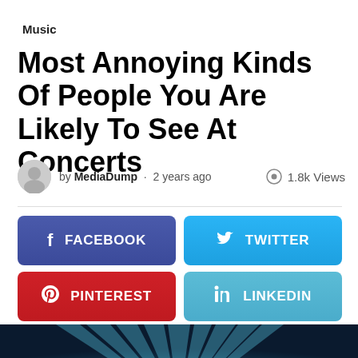Music
Most Annoying Kinds Of People You Are Likely To See At Concerts
by MediaDump · 2 years ago  1.8k Views
[Figure (infographic): Social share buttons: Facebook, Twitter, Pinterest, LinkedIn in colored rounded rectangles]
[Figure (photo): Concert venue image with blue spotlight rays on dark background, with a share icon button overlay]